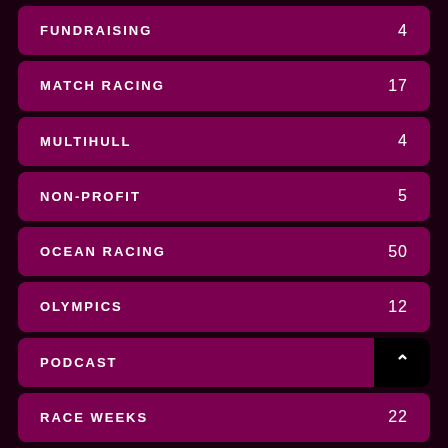FUNDRAISING  4
MATCH RACING  17
MULTIHULL  4
NON-PROFIT  5
OCEAN RACING  50
OLYMPICS  12
PODCAST
RACE WEEKS  22